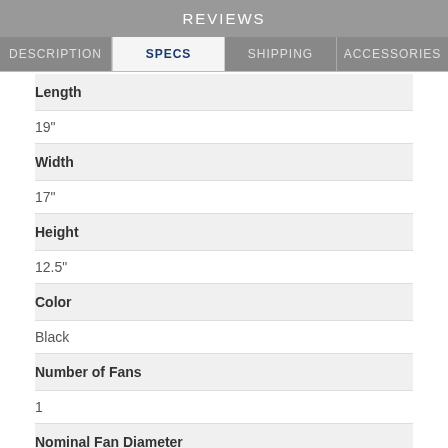REVIEWS
DESCRIPTION | SPECS | SHIPPING | ACCESSORIES
| Specification | Value |
| --- | --- |
| Length | 19" |
| Width | 17" |
| Height | 12.5" |
| Color | Black |
| Number of Fans | 1 |
| Nominal Fan Diameter | 7" |